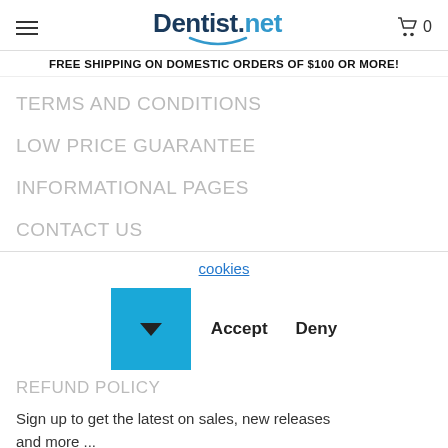Dentist.net [hamburger menu, cart icon, 0]
FREE SHIPPING ON DOMESTIC ORDERS OF $100 OR MORE!
TERMS AND CONDITIONS
LOW PRICE GUARANTEE
INFORMATIONAL PAGES
CONTACT US
cookies
[Figure (other): Blue square button with a downward arrow, flanked by Accept and Deny text buttons]
REFUND POLICY
Sign up to get the latest on sales, new releases and more ...